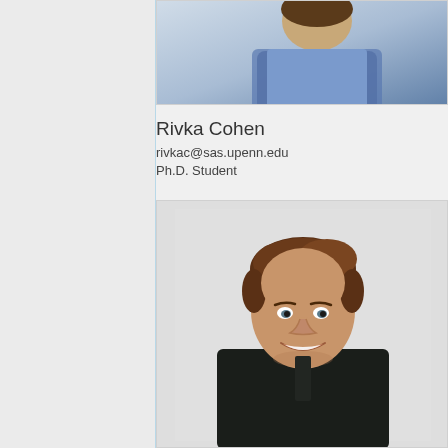[Figure (photo): Partial photo of a person at the top of the page, mostly cropped, showing upper body with blue/colorful clothing]
Rivka Cohen
rivkac@sas.upenn.edu
Ph.D. Student
[Figure (photo): Headshot photo of a young man with brown hair, smiling, wearing a dark green/black henley shirt, against a light background]